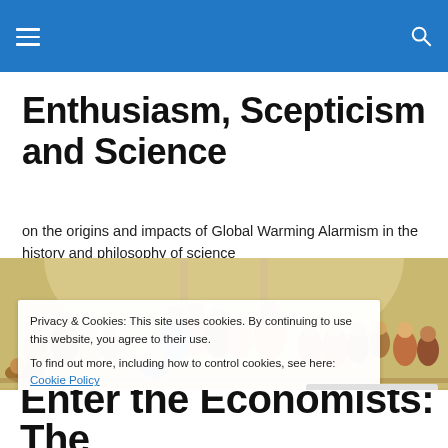Enthusiasm, Scepticism and Science
on the origins and impacts of Global Warming Alarmism in the history and philosophy of science
[Figure (photo): Raphael's 'The School of Athens' fresco painting showing ancient Greek philosophers gathered in a grand architectural setting]
Privacy & Cookies: This site uses cookies. By continuing to use this website, you agree to their use.
To find out more, including how to control cookies, see here: Cookie Policy
Close and accept
Enter the Economists: The